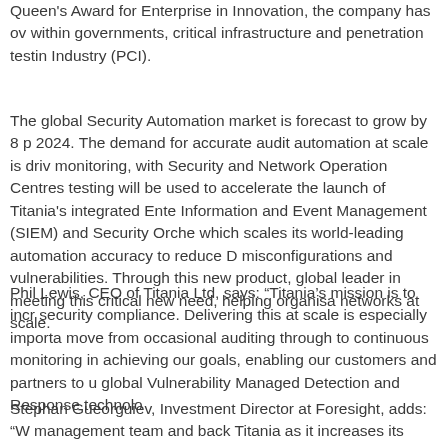Queen's Award for Enterprise in Innovation, the company has over within governments, critical infrastructure and penetration testing Industry (PCI).
The global Security Automation market is forecast to grow by 8 2024. The demand for accurate audit automation at scale is driv monitoring, with Security and Network Operation Centres testing will be used to accelerate the launch of Titania's integrated Ente Information and Event Management (SIEM) and Security Orche which scales its world-leading automation accuracy to reduce D misconfigurations and vulnerabilities. Through this new product, global leader in meeting this critical new need, helping organisa networks at scale.
Phil Lewis, CEO of Titania Ltd, says: “Titania’s mission is to incr security compliance. Delivering this at scale is especially importa move from occasional auditing through to continuous monitoring in achieving our goals, enabling our customers and partners to u global Vulnerability Managed Detection and Response technolo
Stephan Gueorguiev, Investment Director at Foresight, adds: “W management team and back Titania as it increases its offering b